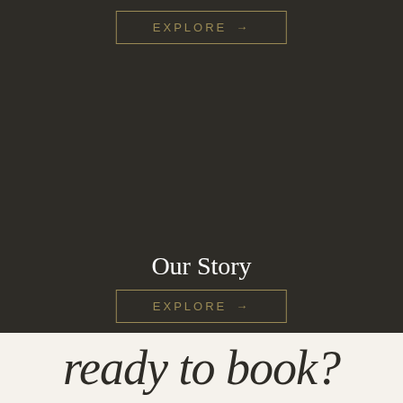[Figure (other): Dark olive/charcoal background section with a gold-bordered EXPLORE button at top and 'Our Story' text with another EXPLORE button below]
EXPLORE →
Our Story
EXPLORE →
ready to book?